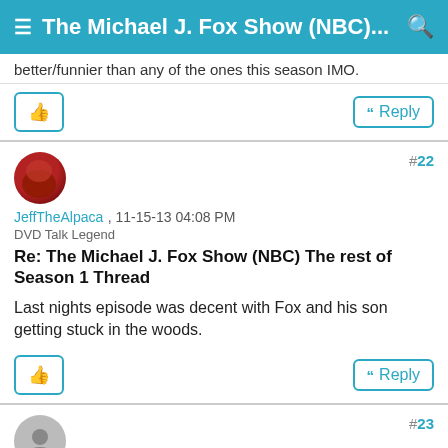≡ The Michael J. Fox Show (NBC)... 🔍
better/funnier than any of the ones this season IMO.
👍  Reply
#22
JeffTheAlpaca , 11-15-13 04:08 PM
DVD Talk Legend
Re: The Michael J. Fox Show (NBC) The rest of Season 1 Thread
Last nights episode was decent with Fox and his son getting stuck in the woods.
👍  Reply
#23
dalbowski , 11-15-13 05:43 PM
DVD Talk Special Edition
Re: The Michael J. Fox Show (NBC) The rest of Season